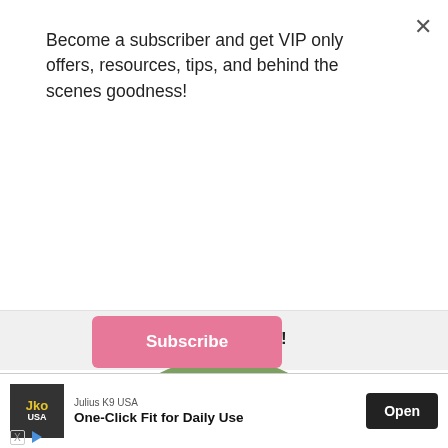Become a subscriber and get VIP only offers, resources, tips, and behind the scenes goodness!
Subscribe
HEY Y'ALL!
[Figure (photo): Circular cropped portrait photo of a smiling blonde woman outdoors]
[Figure (other): Advertisement banner: Julius K9 USA logo, 'One-Click Fit for Daily Use', Open button, X and play icons]